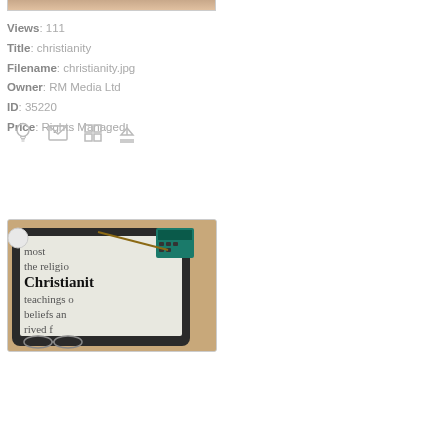[Figure (photo): Partial top of a photo showing a hand or similar object, cropped at top]
Views: 111
Title: christianity
Filename: christianity.jpg
Owner: RM Media Ltd
ID: 35220
Price: Rights Managed
[Figure (illustration): Icon buttons row: lightbulb, envelope, grid, download arrow]
[Figure (photo): Photo of a tablet device displaying text about Christianity with the word 'Christianity' in bold, with glasses and a calculator in the background]